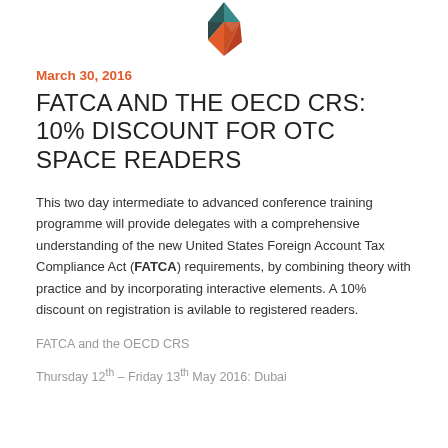[Figure (logo): Geometric diamond-shaped logo with teal, orange, and dark triangle segments]
March 30, 2016
FATCA AND THE OECD CRS: 10% DISCOUNT FOR OTC SPACE READERS
This two day intermediate to advanced conference training programme will provide delegates with a comprehensive understanding of the new United States Foreign Account Tax Compliance Act (FATCA) requirements, by combining theory with practice and by incorporating interactive elements. A 10% discount on registration is avilable to registered readers.
FATCA and the OECD CRS
Thursday 12th – Friday 13th May 2016: Dubai